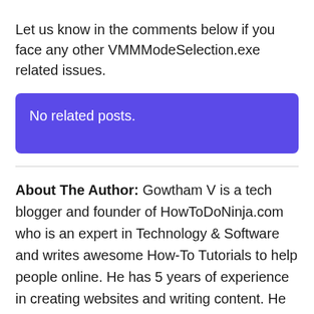Let us know in the comments below if you face any other VMMModeSelection.exe related issues.
No related posts.
About The Author: Gowtham V is a tech blogger and founder of HowToDoNinja.com who is an expert in Technology & Software and writes awesome How-To Tutorials to help people online. He has 5 years of experience in creating websites and writing content. He uses a Windows PC, a Macbook Pro, and an Android
x